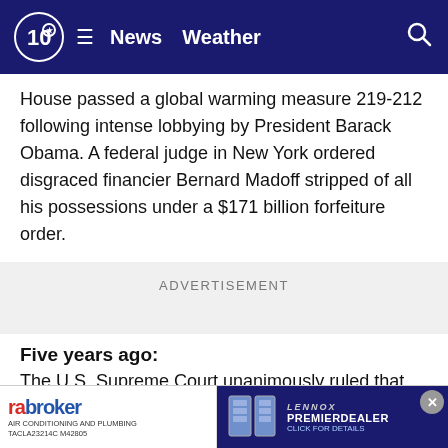10 News Weather
House passed a global warming measure 219-212 following intense lobbying by President Barack Obama. A federal judge in New York ordered disgraced financier Bernard Madoff stripped of all his possessions under a $171 billion forfeiture order.
ADVERTISEMENT
Five years ago:
The U.S. Supreme Court unanimously ruled that President Barack Obama had exceeded his executive authority in 2012 when he appointed members to the National Labor Relations Board without...nation's highest...not